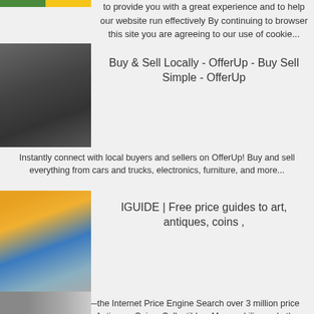to provide you with a great experience and to help our website run effectively By continuing to browser this site you are agreeing to our use of cookie...
[Figure (photo): Thumbnail image of car interior or industrial equipment, partially visible at top]
Buy & Sell Locally - OfferUp - Buy Sell Simple - OfferUp
Instantly connect with local buyers and sellers on OfferUp! Buy and sell everything from cars and trucks, electronics, furniture, and more...
[Figure (photo): Thumbnail image showing industrial/mechanical equipment with dark tones]
IGUIDE | Free price guides to art, antiques, coins ,
Welcome to iGuide—the Internet Price Engine Search over 3 million price reports spanning Art, Antiques, Coins, Collectibles, Memorabilia, and other Tangible Assets of Value iGuide empowers you with Pricing Knowledge—enabling you to buy smarter and sell smarter...
[Figure (photo): Thumbnail image partially visible at bottom of page]